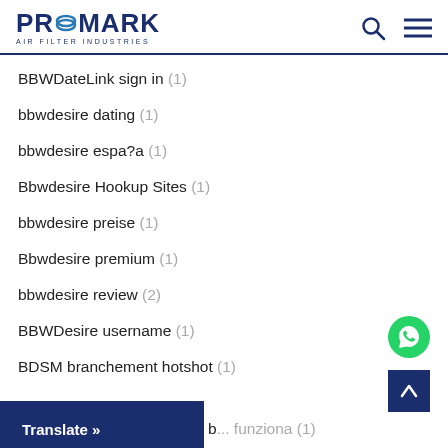PROMARK AIR FILTER INDUSTRIES
BBWDateLink sign in (1)
bbwdesire dating (1)
bbwdesire espa?a (1)
Bbwdesire Hookup Sites (1)
bbwdesire preise (1)
Bbwdesire premium (1)
bbwdesire review (2)
BBWDesire username (1)
BDSM branchement hotshot (1)
b... funziona (1)